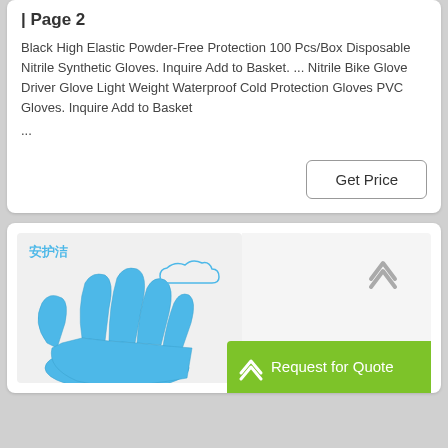| Page 2
Black High Elastic Powder-Free Protection 100 Pcs/Box Disposable Nitrile Synthetic Gloves. Inquire Add to Basket. ... Nitrile Bike Glove Driver Glove Light Weight Waterproof Cold Protection Gloves PVC Gloves. Inquire Add to Basket
...
Get Price
[Figure (photo): Product listing card showing a blue nitrile glove with Chinese brand logo (安护洁) and a green Request for Quote button with an up-arrow icon]